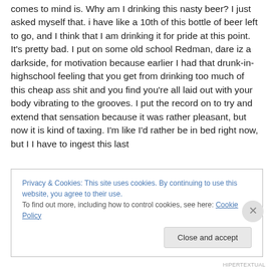comes to mind is. Why am I drinking this nasty beer? I just asked myself that. i have like a 10th of this bottle of beer left to go, and I think that I am drinking it for pride at this point. It's pretty bad. I put on some old school Redman, dare iz a darkside, for motivation because earlier I had that drunk-in-highschool feeling that you get from drinking too much of this cheap ass shit and you find you're all laid out with your body vibrating to the grooves. I put the record on to try and extend that sensation because it was rather pleasant, but now it is kind of taxing. I'm like I'd rather be in bed right now, but I I have to ingest this last
Privacy & Cookies: This site uses cookies. By continuing to use this website, you agree to their use.
To find out more, including how to control cookies, see here: Cookie Policy
Close and accept